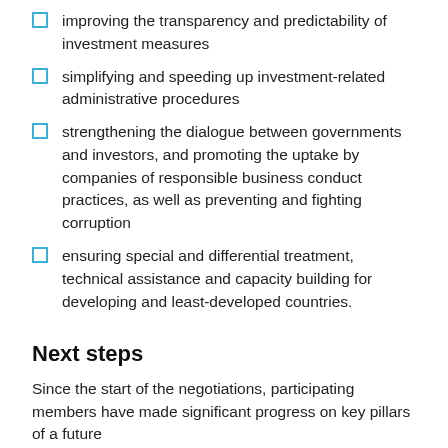improving the transparency and predictability of investment measures
simplifying and speeding up investment-related administrative procedures
strengthening the dialogue between governments and investors, and promoting the uptake by companies of responsible business conduct practices, as well as preventing and fighting corruption
ensuring special and differential treatment, technical assistance and capacity building for developing and least-developed countries.
Next steps
Since the start of the negotiations, participating members have made significant progress on key pillars of a future